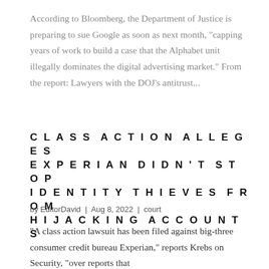According to Bloomberg, the Department of Justice is preparing to sue Google as soon as next month, "capping years of work to build a case that the Alphabet unit illegally dominates the digital advertising market." From the report: Lawyers with the DOJ's antitrust...
CLASS ACTION ALLEGES EXPERIAN DIDN'T STOP IDENTITY THIEVES FROM HIJACKING ACCOUNTS
by EditorDavid | Aug 8, 2022 | court
"A class action lawsuit has been filed against big-three consumer credit bureau Experian," reports Krebs on Security, "over reports that